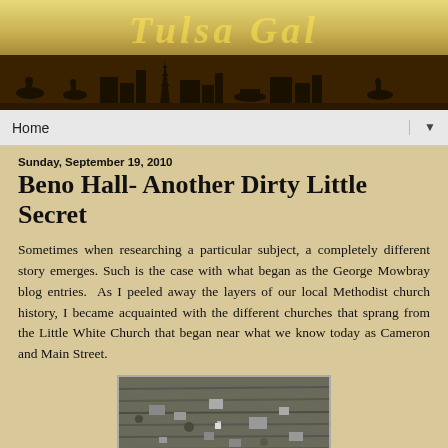[Figure (illustration): Banner header with decorative italic cursive text 'Tulsa Gal' in gold/yellow over a gradient background of yellows and browns, with a dark silhouette panorama of horses, riders, wagons, buildings, and an oil derrick along the bottom.]
Home ▼
Sunday, September 19, 2010
Beno Hall- Another Dirty Little Secret
Sometimes when researching a particular subject, a completely different story emerges. Such is the case with what began as the George Mowbray blog entries. As I peeled away the layers of our local Methodist church history, I became acquainted with the different churches that sprang from the Little White Church that began near what we know today as Cameron and Main Street.
[Figure (photo): Black and white historical aerial or ground-level photograph of an early town or settlement with scattered buildings and open land.]